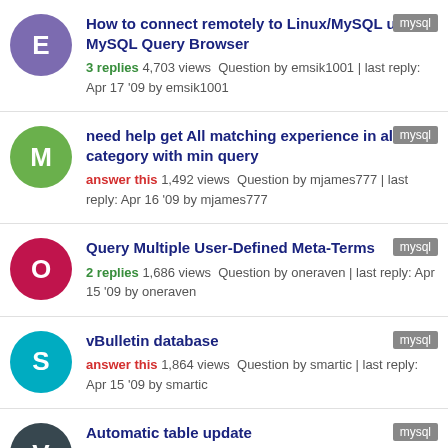How to connect remotely to Linux/MySQL using MySQL Query Browser | 3 replies 4,703 views Question by emsik1001 | last reply: Apr 17 '09 by emsik1001 | mysql
need help get All matching experience in all category with min query | answer this 1,492 views Question by mjames777 | last reply: Apr 16 '09 by mjames777 | mysql
Query Multiple User-Defined Meta-Terms | 2 replies 1,686 views Question by oneraven | last reply: Apr 15 '09 by oneraven | mysql
vBulletin database | answer this 1,864 views Question by smartic | last reply: Apr 15 '09 by smartic | mysql
Automatic table update | mysql